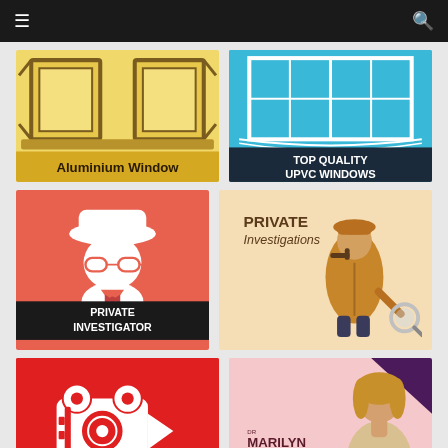Navigation bar with menu and search icons
[Figure (logo): Aluminium Window logo - yellow background with open window frame illustration, text 'Aluminium Window' at bottom]
[Figure (logo): Top Quality UPVC Windows logo - blue and dark background with window frame illustration, text 'TOP QUALITY UPVC WINDOWS']
[Figure (logo): Private Investigator logo - coral/red background with white illustrated detective figure, black bar at bottom with text 'PRIVATE INVESTIGATOR']
[Figure (logo): Private Investigations logo - cream background with illustrated detective character holding magnifying glass, text 'PRIVATE Investigations' at top]
[Figure (logo): Hightower logo - red background with white movie camera icon, text 'HIGHTOWER' at bottom]
[Figure (logo): Dr Marilyn Glenville PhD (non-medical) logo - pink background with photo of woman and dark purple triangle corner]